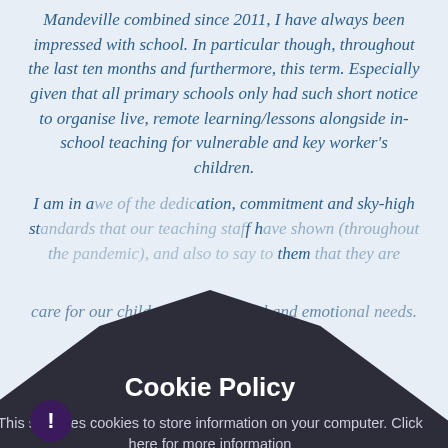Mandeville combined since 2011, I have always been impressed with school. In particular though, throughout the last ten months and furthermore, this term. Especially given that all primary schools only had such short notice to organise live, remote learning/lessons alongside in-school teaching for vulnerable and key worker's children.
I am in awe of the dedication, commitment and sky-high standards that our teaching staff have shown (throughout the pandemic), and also to say to them that they are absolutely incredible in continuing to provide our children's education professionally, athletically even with the challenges of having to and not to their own health and wellbeing. Behaving professionally, setting examples of positivity and care for our children's educational and emotional needs.
[Figure (screenshot): Cookie Policy modal overlay with dark pentagon/house shape background. Title: 'Cookie Policy'. Text: 'This site uses cookies to store information on your computer. Click here for more information'. Two buttons: 'Allow Cookies' and 'Deny Cookies'. Close X button visible. Exclamation mark circle in bottom left.]